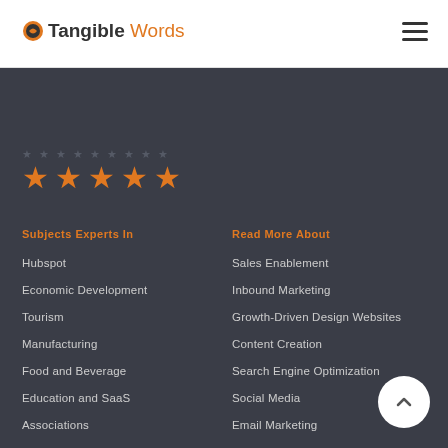Tangible Words
[Figure (illustration): Five orange star rating icons in a row on a dark background]
Subjects Experts In
Read More About
Hubspot
Sales Enablement
Economic Development
Inbound Marketing
Tourism
Growth-Driven Design Websites
Manufacturing
Content Creation
Food and Beverage
Search Engine Optimization
Education and SaaS
Social Media
Associations
Email Marketing
Blogging for Business